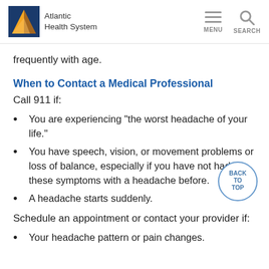Atlantic Health System
frequently with age.
When to Contact a Medical Professional
Call 911 if:
You are experiencing "the worst headache of your life."
You have speech, vision, or movement problems or loss of balance, especially if you have not had these symptoms with a headache before.
A headache starts suddenly.
Schedule an appointment or contact your provider if:
Your headache pattern or pain changes.